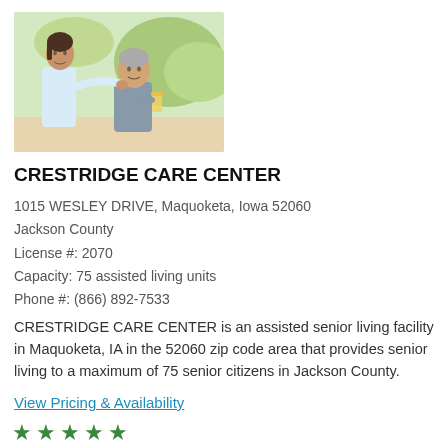[Figure (photo): A caregiver in white uniform assisting an elderly woman holding a glass of juice outdoors.]
CRESTRIDGE CARE CENTER
1015 WESLEY DRIVE, Maquoketa, Iowa 52060
Jackson County
License #: 2070
Capacity: 75 assisted living units
Phone #: (866) 892-7533
CRESTRIDGE CARE CENTER is an assisted senior living facility in Maquoketa, IA in the 52060 zip code area that provides senior living to a maximum of 75 senior citizens in Jackson County.
View Pricing & Availability
[Figure (other): Five green star rating icons]